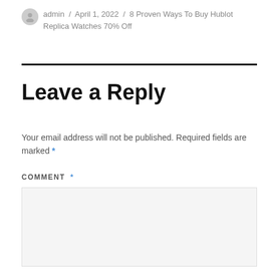admin / April 1, 2022 / 8 Proven Ways To Buy Hublot Replica Watches 70% Off
Leave a Reply
Your email address will not be published. Required fields are marked *
COMMENT *